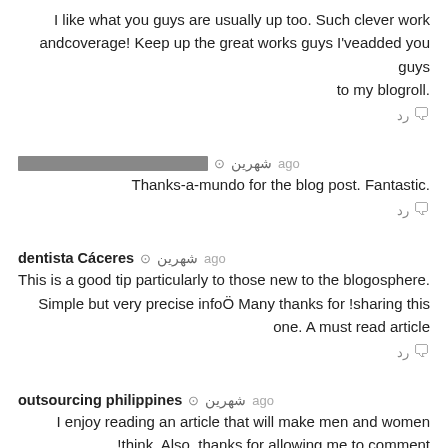I like what you guys are usually up too. Such clever work andcoverage! Keep up the great works guys I'veadded you guys to my blogroll.
رد 💬
شهرین ago [redacted name]
Thanks-a-mundo for the blog post. Fantastic.
رد 💬
dentista Cáceres شهرین ago
This is a good tip particularly to those new to the blogosphere. Simple but very precise infoÖ Many thanks for sharing this one. A must read article!
رد 💬
outsourcing philippines شهرین ago
I enjoy reading an article that will make men and women think. Also, thanks for allowing me to comment!